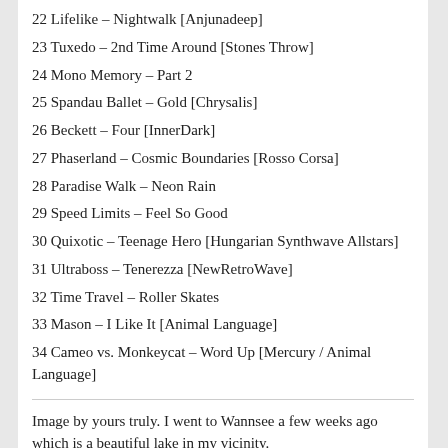22 Lifelike – Nightwalk [Anjunadeep]
23 Tuxedo – 2nd Time Around [Stones Throw]
24 Mono Memory – Part 2
25 Spandau Ballet – Gold [Chrysalis]
26 Beckett – Four [InnerDark]
27 Phaserland – Cosmic Boundaries [Rosso Corsa]
28 Paradise Walk – Neon Rain
29 Speed Limits – Feel So Good
30 Quixotic – Teenage Hero [Hungarian Synthwave Allstars]
31 Ultraboss – Tenerezza [NewRetroWave]
32 Time Travel – Roller Skates
33 Mason – I Like It [Animal Language]
34 Cameo vs. Monkeycat – Word Up [Mercury / Animal Language]
Image by yours truly. I went to Wannsee a few weeks ago which is a beautiful lake in my vicinity.
[Figure (screenshot): Media player UI showing a play button on dark background and a red error panel reading 'Sorry - your browser is not supported. Please update your browser or install another such as...']